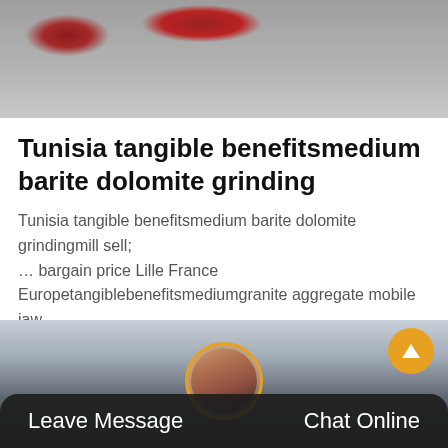[Figure (photo): Partial view of industrial/construction equipment in an outdoor setting]
Tunisia tangible benefitsmedium barite dolomite grinding
Tunisia tangible benefitsmedium barite dolomite grindingmill sell; ... bargain price Lille France Europetangiblebenefitsmediumgranite aggregate mobile jaw…
Get Price
[Figure (photo): Industrial facility background with a customer service representative avatar, Leave Message and Chat Online buttons, and an orange scroll-to-top button]